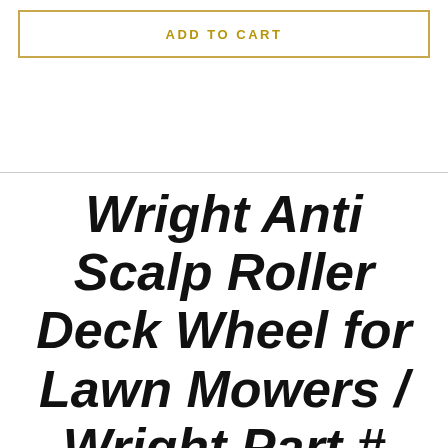ADD TO CART
Wright Anti Scalp Roller Deck Wheel for Lawn Mowers / Wright Part #